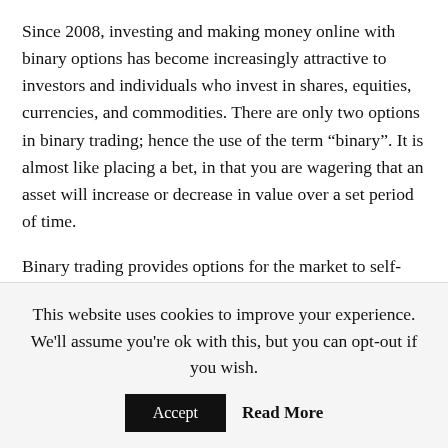Since 2008, investing and making money online with binary options has become increasingly attractive to investors and individuals who invest in shares, equities, currencies, and commodities. There are only two options in binary trading; hence the use of the term “binary”. It is almost like placing a bet, in that you are wagering that an asset will increase or decrease in value over a set period of time.
Binary trading provides options for the market to self-regulate and offers an opportunity to rein in overrated stocks by speculating that a company will see a decrease in its value.
In binary options trading you are betting that the price of a
This website uses cookies to improve your experience. We’ll assume you’re ok with this, but you can opt-out if you wish.
Accept   Read More